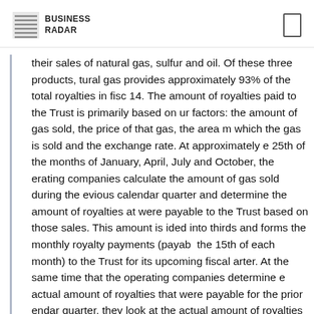BUSINESS RADAR
their sales of natural gas, sulfur and oil. Of these three products, tural gas provides approximately 93% of the total royalties in fisc 14. The amount of royalties paid to the Trust is primarily based on ur factors: the amount of gas sold, the price of that gas, the area m which the gas is sold and the exchange rate. At approximately e 25th of the months of January, April, July and October, the erating companies calculate the amount of gas sold during the evious calendar quarter and determine the amount of royalties at were payable to the Trust based on those sales. This amount is ided into thirds and forms the monthly royalty payments (payab the 15th of each month) to the Trust for its upcoming fiscal arter. At the same time that the operating companies determine e actual amount of royalties that were payable for the prior endar quarter, they look at the actual amount of royalties that re paid to the Trust for that period and calculate the difference tween what was paid and what was payable. Additional amounts yable by the operating companies are paid immediately and any